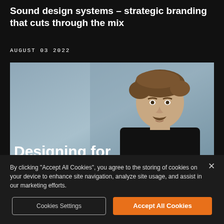Sound design systems – strategic branding that cuts through the mix
AUGUST 03 2022
[Figure (screenshot): Video thumbnail showing a man with brown hair and a mustache wearing a black shirt against a gray background. Overlay text reads 'Designing for' partially visible.]
By clicking "Accept All Cookies", you agree to the storing of cookies on your device to enhance site navigation, analyze site usage, and assist in our marketing efforts.
Cookies Settings
Accept All Cookies